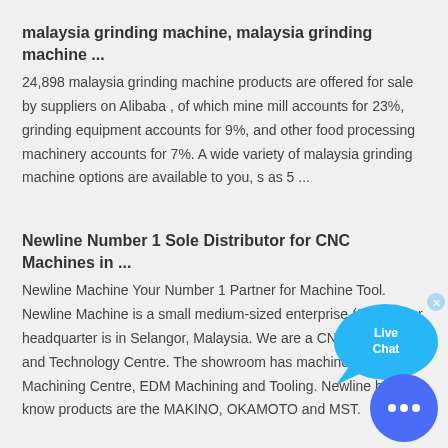malaysia grinding machine, malaysia grinding machine ...
24,898 malaysia grinding machine products are offered for sale by suppliers on Alibaba , of which mine mill accounts for 23%, grinding equipment accounts for 9%, and other food processing machinery accounts for 7%. A wide variety of malaysia grinding machine options are available to you, s as 5 ...
Newline Number 1 Sole Distributor for CNC Machines in ...
Newline Machine Your Number 1 Partner for Machine Tool. Newline Machine is a small medium-sized enterprise (SME). Our headquarter is in Selangor, Malaysia. We are a CNC Distributor and Technology Centre. The showroom has machines from Machining Centre, EDM Machining and Tooling. Newline best know products are the MAKINO, OKAMOTO and MST.
[Figure (illustration): Live Chat speech bubble icon in blue with 'Live Chat' text and an X close button]
[Figure (illustration): Blue circular chat button with three dots in the bottom right corner]